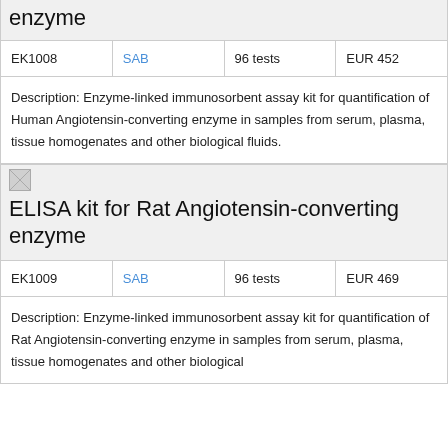enzyme
| EK1008 | SAB | 96 tests | EUR 452 |
| --- | --- | --- | --- |
Description: Enzyme-linked immunosorbent assay kit for quantification of Human Angiotensin-converting enzyme in samples from serum, plasma, tissue homogenates and other biological fluids.
[Figure (photo): Small thumbnail image placeholder]
ELISA kit for Rat Angiotensin-converting enzyme
| EK1009 | SAB | 96 tests | EUR 469 |
| --- | --- | --- | --- |
Description: Enzyme-linked immunosorbent assay kit for quantification of Rat Angiotensin-converting enzyme in samples from serum, plasma, tissue homogenates and other biological